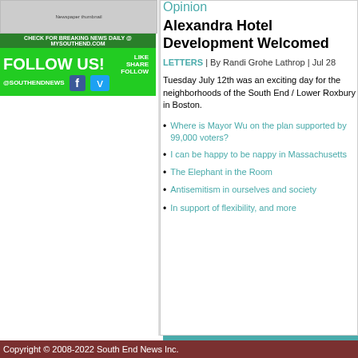[Figure (screenshot): Newspaper front page thumbnail image]
[Figure (infographic): Green social media follow box: FOLLOW US! @SOUTHENDNEWS with Facebook and Twitter icons, LIKE SHARE FOLLOW text]
Opinion
Alexandra Hotel Development Welcomed
LETTERS | By Randi Grohe Lathrop | Jul 28
Tuesday July 12th was an exciting day for the neighborhoods of the South End / Lower Roxbury in Boston.
Where is Mayor Wu on the plan supported by 99,000 voters?
I can be happy to be nappy in Massachusetts
The Elephant in the Room
Antisemitism in ourselves and society
In support of flexibility, and more
Get on our email list!
Enter your email address for weekly up…
Copyright © 2008-2022 South End News Inc.